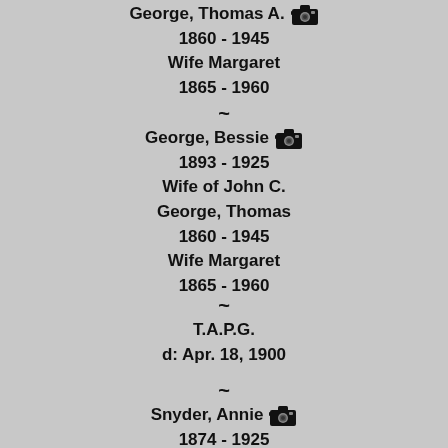George, Thomas A. [camera] 1860 - 1945 Wife Margaret 1865 - 1960
~
George, Bessie [camera] 1893 - 1925 Wife of John C. George, Thomas 1860 - 1945 Wife Margaret 1865 - 1960
~
T.A.P.G. d: Apr. 18, 1900
~
Snyder, Annie [camera] 1874 - 1925 Wife of David